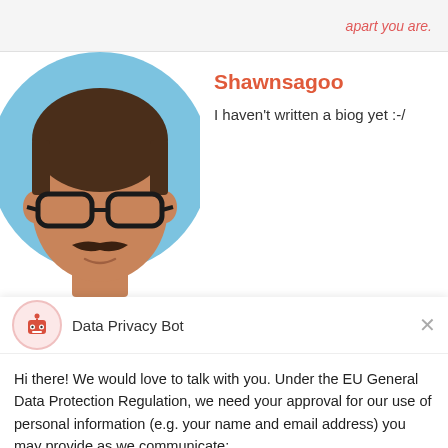apart you are.
[Figure (illustration): Cartoon avatar of a man with glasses, a mustache, short brown hair, wearing a brown top, on a light blue circular background.]
Shawnsagoo
I haven't written a biog yet :-/
[Figure (illustration): Data Privacy Bot chat widget icon — red robot head on pink circle background]
Data Privacy Bot
Hi there! We would love to talk with you. Under the EU General Data Protection Regulation, we need your approval for our use of personal information (e.g. your name and email address) you may provide as we communicate:
Yes, I Accept
No, Not Now
Chat ⚡ by Drift